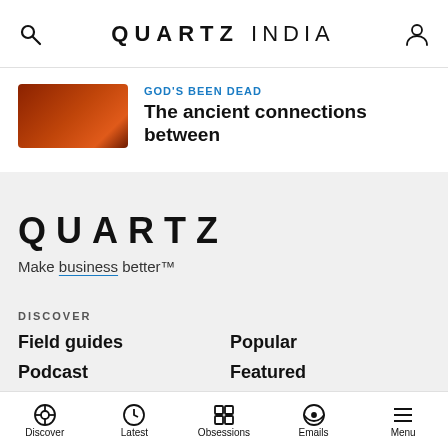QUARTZ INDIA
[Figure (screenshot): Article preview with brownish-red thumbnail image, category label GOD'S BEEN DEAD in blue, and headline 'The ancient connections between']
QUARTZ
Make business better™
DISCOVER
Field guides
Popular
Podcast
Featured
Emails
Obsessions
Latest
Discover  Latest  Obsessions  Emails  Menu